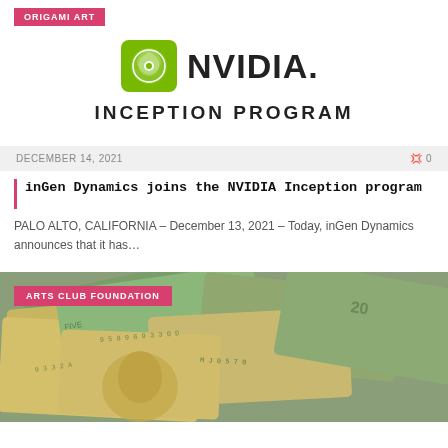ORIGAMI ART
[Figure (logo): NVIDIA logo with green stylized eye icon and bold NVIDIA. wordmark]
INCEPTION PROGRAM
DECEMBER 14, 2021    0
inGen Dynamics joins the NVIDIA Inception program
PALO ALTO, CALIFORNIA – December 13, 2021 – Today, inGen Dynamics announces that it has...
[Figure (photo): Photo of scattered US dollar bills including $5, $20 bills, with ARTS CLUB FOUNDATION label overlay]